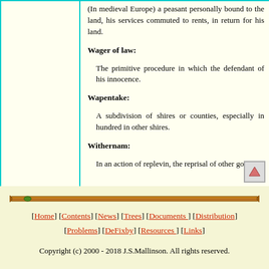(In medieval Europe) a peasant personally bound to the land, his services commuted to rents, in return for his land.
Wager of law: The primitive procedure in which the defendant offered to prove his innocence.
Wapentake: A subdivision of shires or counties, especially in the north; equivalent to hundred in other shires.
Withernam: In an action of replevin, the reprisal of other goods
[Figure (illustration): Decorative wooden stick/branch divider]
[Home] [Contents] [News] [Trees] [Documents] [Distribution] [Problems] [DeFixby] [Resources] [Links]
Copyright (c) 2000 - 2018 J.S.Mallinson. All rights reserved.